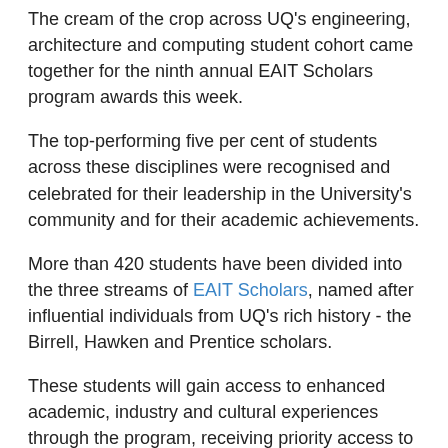The cream of the crop across UQ's engineering, architecture and computing student cohort came together for the ninth annual EAIT Scholars program awards this week.
The top-performing five per cent of students across these disciplines were recognised and celebrated for their leadership in the University's community and for their academic achievements.
More than 420 students have been divided into the three streams of EAIT Scholars, named after influential individuals from UQ's rich history - the Birrell, Hawken and Prentice scholars.
These students will gain access to enhanced academic, industry and cultural experiences through the program, receiving priority access to research, international exchange and industry-sponsored opportunities.
Benefits also include special invitations to the annual EAIT Scholars' presentations, which have a...